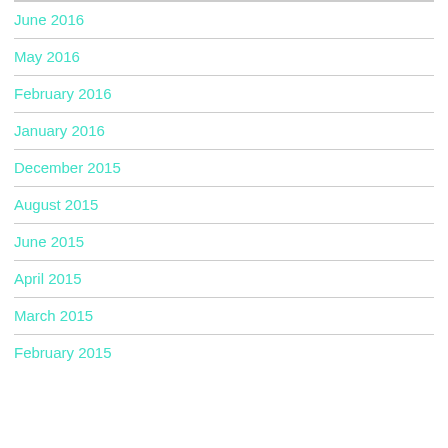June 2016
May 2016
February 2016
January 2016
December 2015
August 2015
June 2015
April 2015
March 2015
February 2015